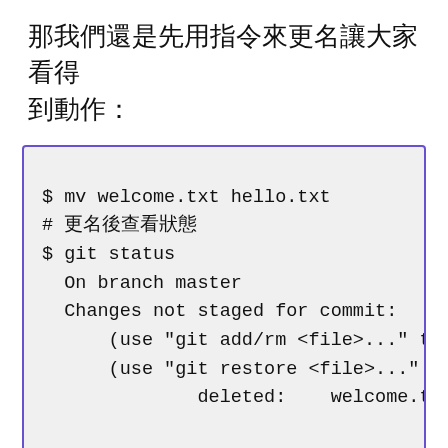那我們還是先用指令來更名讓大家看得到動作：
$ mv welcome.txt hello.txt
# 更名後查看狀態
$ git status
  On branch master
  Changes not staged for commit:
      (use "git add/rm <file>..." to
      (use "git restore <file>..." t
              deleted:    welcome.txt


  Untracked files:
      (use "git add <file>..." to in
              hello.txt


  no changes added to commit (use